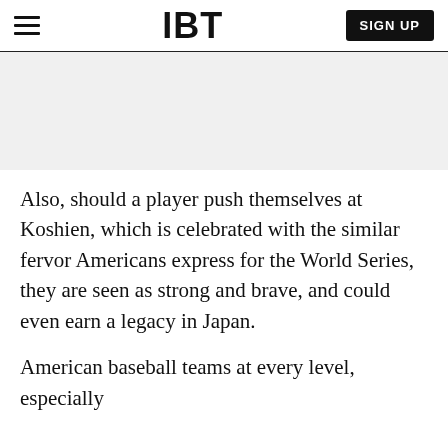IBT | SIGN UP
[Figure (other): Gray placeholder area for advertisement or image banner]
Also, should a player push themselves at Koshien, which is celebrated with the similar fervor Americans express for the World Series, they are seen as strong and brave, and could even earn a legacy in Japan.
American baseball teams at every level, especially